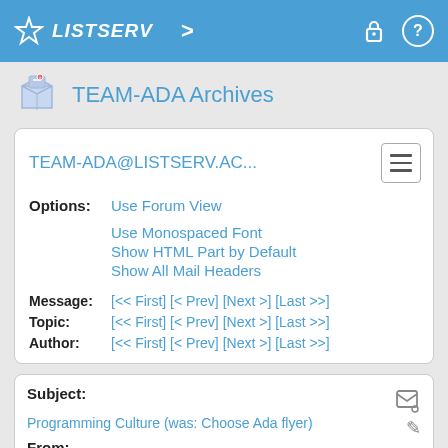LISTSERV
TEAM-ADA Archives
TEAM-ADA@LISTSERV.AC...
Options: Use Forum View
Use Monospaced Font
Show HTML Part by Default
Show All Mail Headers
Message: [<< First] [< Prev] [Next >] [Last >>]
Topic: [<< First] [< Prev] [Next >] [Last >>]
Author: [<< First] [< Prev] [Next >] [Last >>]
Subject: Programming Culture (was: Choose Ada flyer)
From: "W. Wesley Groleau x4923" <[log in to unmask]>